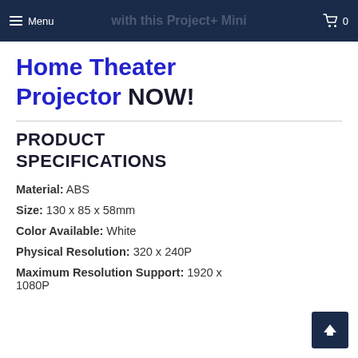with this Project+ Mini Home Theater Projector NOW!  Menu  0
Home Theater Projector NOW!
PRODUCT SPECIFICATIONS
Material: ABS
Size: 130 x 85 x 58mm
Color Available: White
Physical Resolution: 320 x 240P
Maximum Resolution Support: 1920 x 1080P